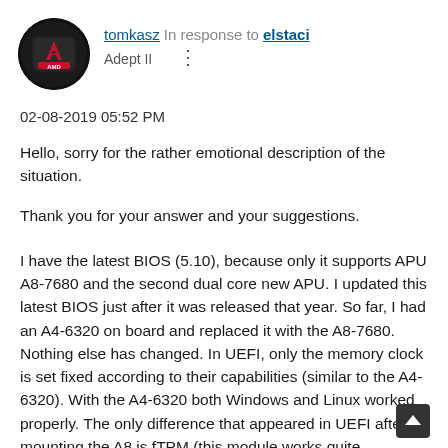[Figure (illustration): AMD avatar/profile icon — circular black badge with AMD logo and red 'A' symbol]
tomkasz In response to elstaci
Adept II
02-08-2019 05:52 PM
Hello, sorry for the rather emotional description of the situation.
Thank you for your answer and your suggestions.
I have the latest BIOS (5.10), because only it supports APU A8-7680 and the second dual core new APU. I updated this latest BIOS just after it was released that year. So far, I had an A4-6320 on board and replaced it with the A8-7680. Nothing else has changed. In UEFI, only the memory clock is set fixed according to their capabilities (similar to the A4-6320). With the A4-6320 both Windows and Linux worked properly. The only difference that appeared in UEFI after mounting the A8 is fTPM (this module works quite capriciously, so I reset UEFI to default settings by resetting